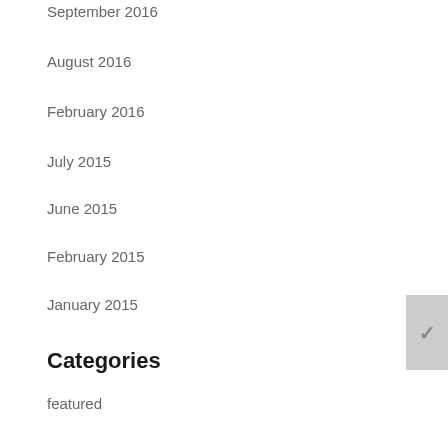September 2016
August 2016
February 2016
July 2015
June 2015
February 2015
January 2015
Categories
featured
Internal News
News
Newsletter
Newsletter Post
pedabo-insights